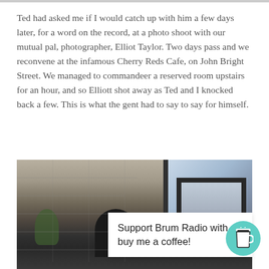Ted had asked me if I would catch up with him a few days later, for a word on the record, at a photo shoot with our mutual pal, photographer, Elliot Taylor. Two days pass and we reconvene at the infamous Cherry Reds Cafe, on John Bright Street. We managed to commandeer a reserved room upstairs for an hour, and so Elliott shot away as Ted and I knocked back a few. This is what the gent had to say to say for himself.
[Figure (photo): Interior photo of Cherry Reds Cafe showing stone walls, large dark-framed windows with city view, indoor plants, and a person seated, taken during a photo shoot]
Support Brum Radio with buy me a coffee!